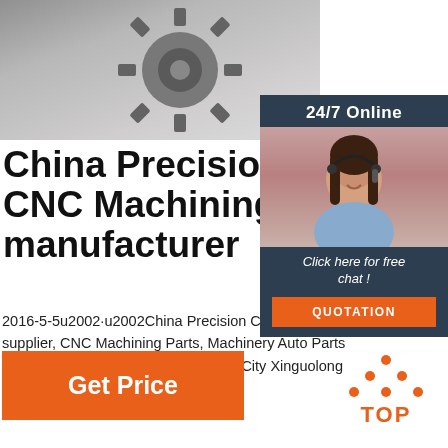[Figure (photo): Close-up photo of a metallic precision CNC gear/cog against a light grey background]
[Figure (photo): Customer service agent (woman with headset, smiling) with '24/7 Online' label, 'Click here for free chat!' text, and an orange QUOTATION button on a dark navy background panel]
China Precision CNC Machining manufacturer
2016-5-5u2002·u2002China Precision CNC Machining supplier, CNC Machining Parts, Machinery Auto Parts Manufacturers Suppliers - Shenzhen City Xinguolong Technology Co., Ltd.
[Figure (logo): Orange dots arranged in triangle above 'TOP' text in orange — a back-to-top navigation icon]
Get Price